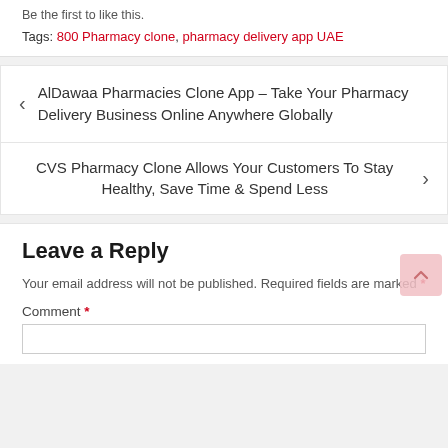Be the first to like this.
Tags: 800 Pharmacy clone, pharmacy delivery app UAE
AlDawaa Pharmacies Clone App – Take Your Pharmacy Delivery Business Online Anywhere Globally
CVS Pharmacy Clone Allows Your Customers To Stay Healthy, Save Time & Spend Less
Leave a Reply
Your email address will not be published. Required fields are marked *
Comment *